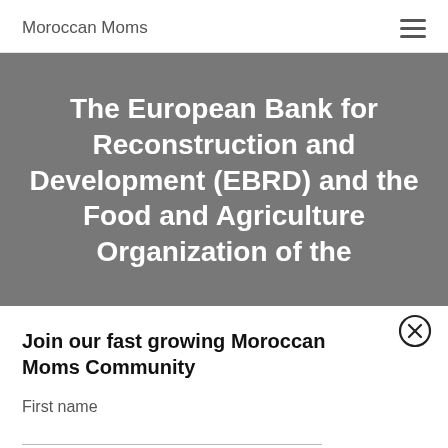Moroccan Moms
The European Bank for Reconstruction and Development (EBRD) and the Food and Agriculture Organization of the
Join our fast growing Moroccan Moms Community
First name